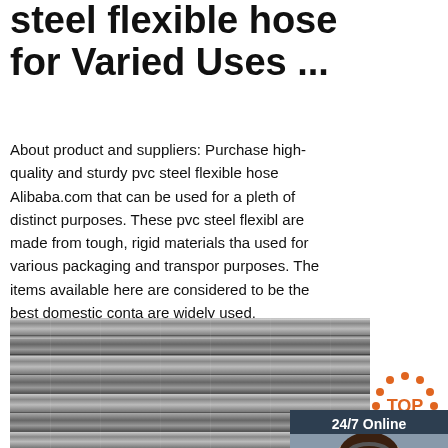steel flexible hose for Varied Uses ...
About product and suppliers: Purchase high-quality and sturdy pvc steel flexible hose Alibaba.com that can be used for a plethora of distinct purposes. These pvc steel flexible are made from tough, rigid materials that can be used for various packaging and transportation purposes. The items available here are considered to be the best domestic conta are widely used.
[Figure (other): Chat widget with woman wearing headset, 24/7 Online label, Click here for free chat text, and QUOTATION orange button]
[Figure (other): Get Price green button]
[Figure (photo): Close-up photo of steel rods/tubes arranged in parallel]
[Figure (logo): TOP badge/logo in orange]